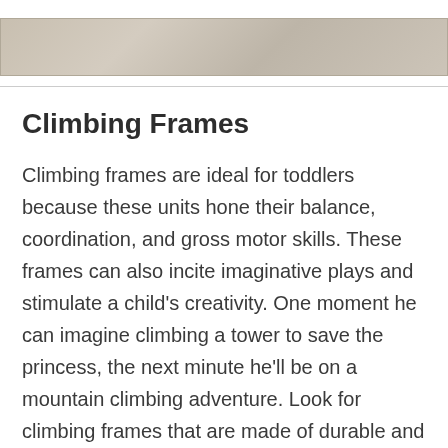[Figure (photo): Horizontal banner image showing a wood-grain textured surface in light grayish-beige tones]
Climbing Frames
Climbing frames are ideal for toddlers because these units hone their balance, coordination, and gross motor skills. These frames can also incite imaginative plays and stimulate a child's creativity. One moment he can imagine climbing a tower to save the princess, the next minute he'll be on a mountain climbing adventure. Look for climbing frames that are made of durable and non-toxic materials and at the same time have sturdy